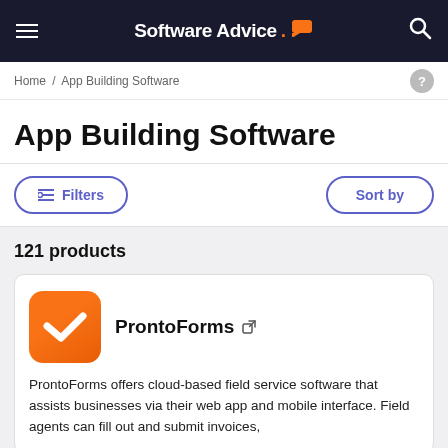Software Advice.
Home / App Building Software
App Building Software
Filters   Sort by
121 products
ProntoForms
ProntoForms offers cloud-based field service software that assists businesses via their web app and mobile interface. Field agents can fill out and submit invoices,